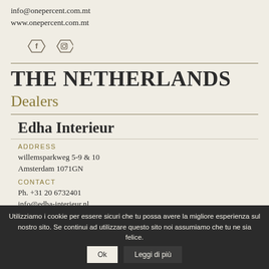info@onepercent.com.mt
www.onepercent.com.mt
[Figure (illustration): Two hexagonal social media icons: Facebook (f) and Instagram (camera)]
THE NETHERLANDS
Dealers
Edha Interieur
ADDRESS
willemsparkweg 5-9 & 10
Amsterdam 1071GN
CONTACT
Ph. +31 20 6732401
info@edha-interieur.nl
Utilizziamo i cookie per essere sicuri che tu possa avere la migliore esperienza sul nostro sito. Se continui ad utilizzare questo sito noi assumiamo che tu ne sia felice. Ok Leggi di più